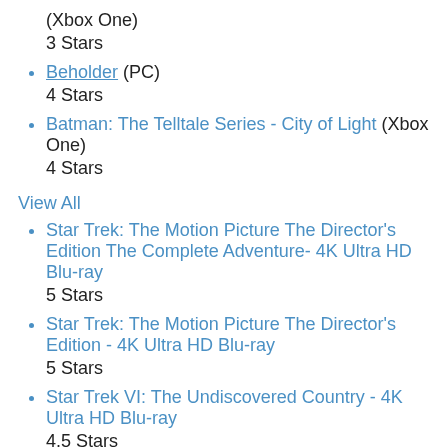(Xbox One)
3 Stars
Beholder (PC)
4 Stars
Batman: The Telltale Series - City of Light (Xbox One)
4 Stars
View All
Star Trek: The Motion Picture The Director's Edition The Complete Adventure- 4K Ultra HD Blu-ray
5 Stars
Star Trek: The Motion Picture The Director's Edition - 4K Ultra HD Blu-ray
5 Stars
Star Trek VI: The Undiscovered Country - 4K Ultra HD Blu-ray
4.5 Stars
Star Trek V: The Final Frontier - 4K Ultra HD Blu-ray